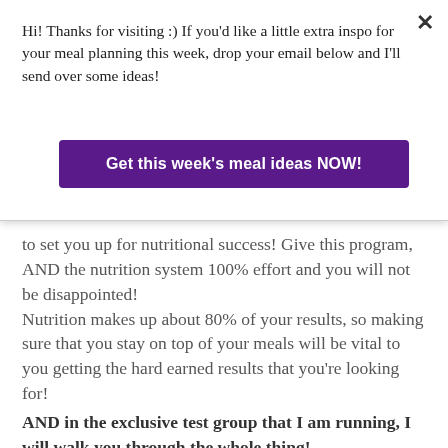Hi! Thanks for visiting :) If you'd like a little extra inspo for your meal planning this week, drop your email below and I'll send over some ideas!
[Figure (other): Purple call-to-action button with text: Get this week's meal ideas NOW!]
to set you up for nutritional success! Give this program, AND the nutrition system 100% effort and you will not be disappointed!
Nutrition makes up about 80% of your results, so making sure that you stay on top of your meals will be vital to you getting the hard earned results that you're looking for!
AND in the exclusive test group that I am running, I will walk you through the whole thing!
How do I get started?
I will be hosting an EXCLUSIVE TEST GROUP